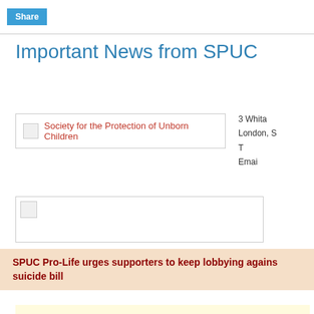Share
Important News from SPUC
[Figure (logo): Society for the Protection of Unborn Children logo with text]
3 Whita
London, S
T
Emai
[Figure (photo): Small image placeholder with icon]
SPUC Pro-Life urges supporters to keep lobbying against suicide bill
JOHN SMEATON, SP
DIRECTOR